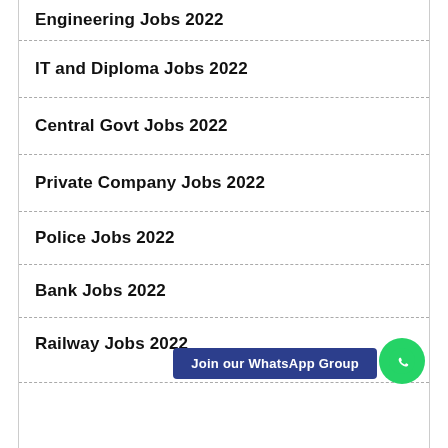Engineering Jobs 2022
IT and Diploma Jobs 2022
Central Govt Jobs 2022
Private Company Jobs 2022
Police Jobs 2022
Bank Jobs 2022
Railway Jobs 2022